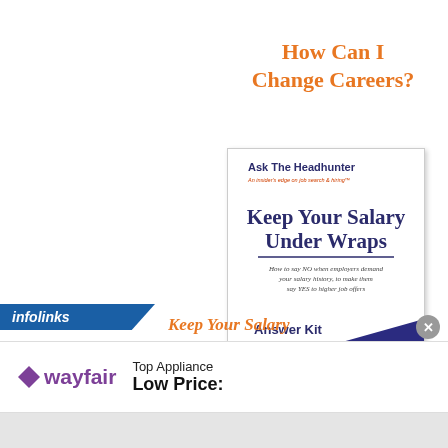How Can I Change Careers?
[Figure (illustration): Book cover for 'Keep Your Salary Under Wraps' by Nick Corcodilos. Ask The Headhunter series. Shows book title in large dark blue text, subtitle 'How to say NO when employers demand your salary history, to make them say YES to higher job offers', Answer Kit bullet list, and Myth-Busting Answers branding with dark blue diagonal design. Published by North Bridge Press.]
infolinks
Keep Your Salary
[Figure (logo): Wayfair logo with purple diamond shape and purple text]
Top Appliance Low Price: